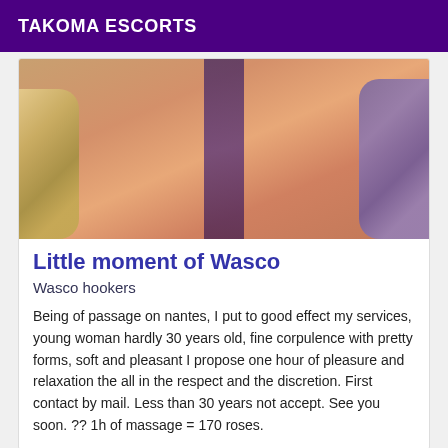TAKOMA ESCORTS
[Figure (photo): Close-up photo showing skin tones with floral elements on left and purple/blue fabric on right, with a dark vertical stripe in the center]
Little moment of Wasco
Wasco hookers
Being of passage on nantes, I put to good effect my services, young woman hardly 30 years old, fine corpulence with pretty forms, soft and pleasant I propose one hour of pleasure and relaxation the all in the respect and the discretion. First contact by mail. Less than 30 years not accept. See you soon. ?? 1h of massage = 170 roses.